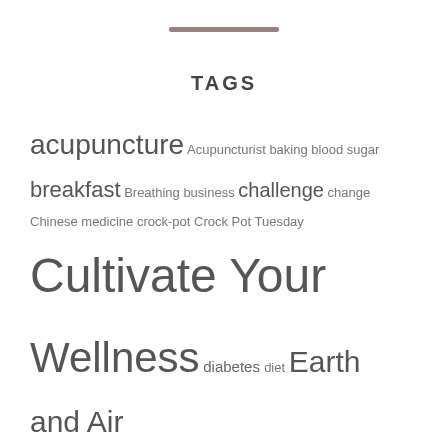TAGS
acupuncture Acupuncturist baking blood sugar breakfast Breathing business challenge change Chinese medicine crock-pot Crock Pot Tuesday Cultivate Your Wellness diabetes diet Earth and Air Wellness Exercise family Farmer's Market gluten-free health healthy home life Meditation mindfulness moving nature organic practice Recipes routine running slow-cooker soup stress management